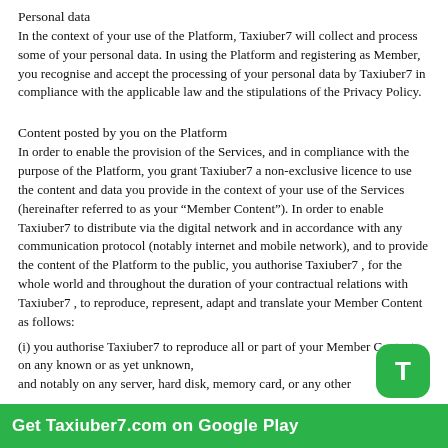Personal data
In the context of your use of the Platform, Taxiuber7 will collect and process some of your personal data. In using the Platform and registering as Member, you recognise and accept the processing of your personal data by Taxiuber7 in compliance with the applicable law and the stipulations of the Privacy Policy.
Content posted by you on the Platform
In order to enable the provision of the Services, and in compliance with the purpose of the Platform, you grant Taxiuber7 a non-exclusive licence to use the content and data you provide in the context of your use of the Services (hereinafter referred to as your “Member Content”). In order to enable Taxiuber7 to distribute via the digital network and in accordance with any communication protocol (notably internet and mobile network), and to provide the content of the Platform to the public, you authorise Taxiuber7 , for the whole world and throughout the duration of your contractual relations with Taxiuber7 , to reproduce, represent, adapt and translate your Member Content as follows:
(i) you authorise Taxiuber7 to reproduce all or part of your Member Content on any known or as yet unknown, and notably on any server, hard disk, memory card, or any other
Get Taxiuber7.com on Google Play